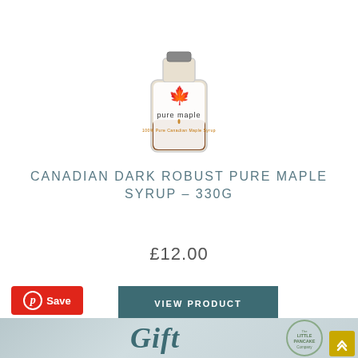[Figure (photo): Pure Maple syrup bottle with red maple leaf logo and text '100% Pure Canadian Maple Syrup']
CANADIAN DARK ROBUST PURE MAPLE SYRUP – 330G
£12.00
VIEW PRODUCT
Save
[Figure (illustration): Bottom banner showing 'Gift' text in teal italic font over a grey/blue gradient background, with The Little Pancake Company logo on the right]